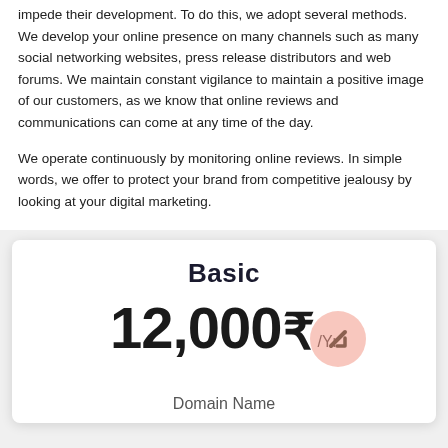impede their development. To do this, we adopt several methods. We develop your online presence on many channels such as many social networking websites, press release distributors and web forums. We maintain constant vigilance to maintain a positive image of our customers, as we know that online reviews and communications can come at any time of the day.
We operate continuously by monitoring online reviews. In simple words, we offer to protect your brand from competitive jealousy by looking at your digital marketing.
Basic
12,000₹/Yr
Domain Name